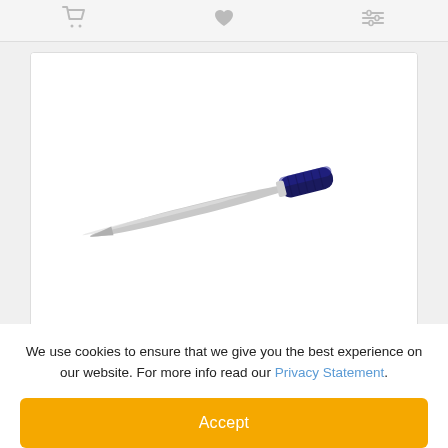[Figure (other): Navigation bar icons: cart, heart/wishlist, filter/settings]
[Figure (photo): Product photo of MW-2144 Fine Modelling File — a slender metal needle file with a dark blue grip handle, oriented diagonally]
MW-2144 Fine Modelling File
Fine Half Round file for modelling workLength : 180mm..
We use cookies to ensure that we give you the best experience on our website. For more info read our Privacy Statement.
Accept